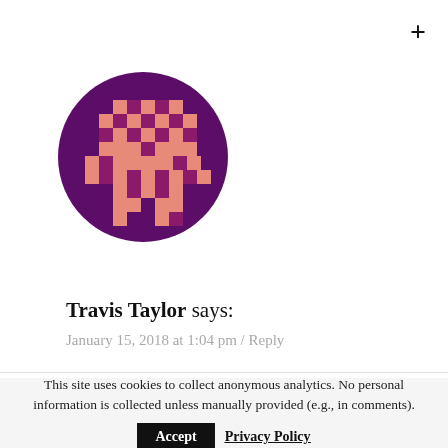[Figure (illustration): Circular purple avatar with a pixel-art style robot/alien figure in salmon/pink color on a dark purple background]
Travis Taylor says:
January 15, 2018 at 1:04 pm / Reply
This site uses cookies to collect anonymous analytics. No personal information is collected unless manually provided (e.g., in comments).
Accept
Privacy Policy